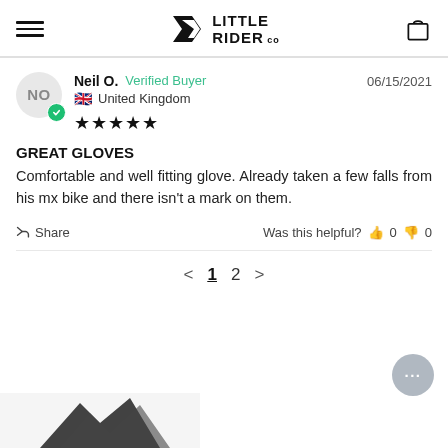[Figure (logo): Little Rider Co logo with stylized 'R' icon and shopping cart icon in header navigation]
Neil O.  Verified Buyer  06/15/2021  United Kingdom  ★★★★★
GREAT GLOVES
Comfortable and well fitting glove. Already taken a few falls from his mx bike and there isn't a mark on them.
Share  Was this helpful?  0  0
< 1 2 >